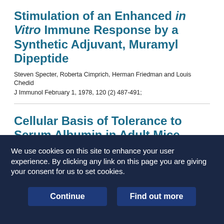Stimulation of an Enhanced in Vitro Immune Response by a Synthetic Adjuvant, Muramyl Dipeptide
Steven Specter, Roberta Cimprich, Herman Friedman and Louis Chedid
J Immunol February 1, 1978, 120 (2) 487-491;
Cellular Basis of Tolerance to Serum Albumin in Adult Mice
Israel Zan-Bar, Donald B. Murphy and Samuel Strober
J Immunol February 1, 1978, 120 (2) 497-506;
We use cookies on this site to enhance your user experience. By clicking any link on this page you are giving your consent for us to set cookies.